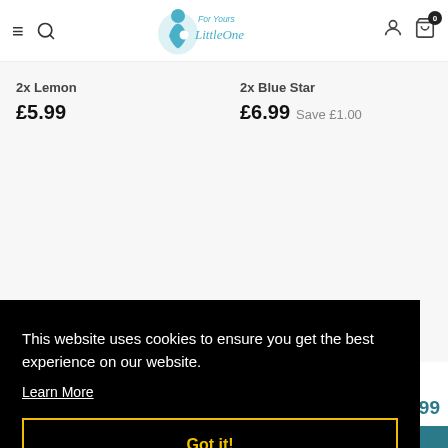For Your Little One — website header with logo, navigation icons, and cart
2x Lemon
£5.99
2x Blue Star
£6.99  Save £1.00
[Figure (other): Carousel pagination dots — 6 dots, first filled (active), rest empty]
This website uses cookies to ensure you get the best experience on our website.
Learn More
Got it!
£5.99